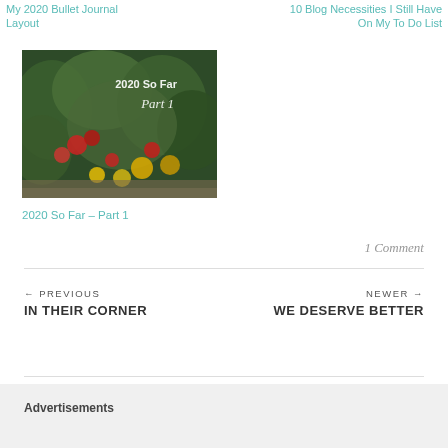My 2020 Bullet Journal Layout
10 Blog Necessities I Still Have On My To Do List
[Figure (photo): Garden photo with red and yellow flowers, overlaid with white text '2020 So Far Part 1' on a dark green leafy background]
2020 So Far – Part 1
1 Comment
← PREVIOUS
IN THEIR CORNER
NEWER →
WE DESERVE BETTER
Advertisements